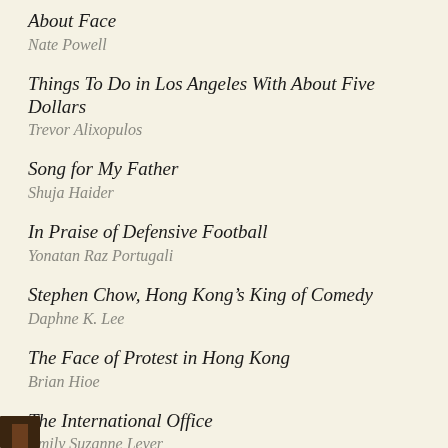About Face
Nate Powell
Things To Do in Los Angeles With About Five Dollars
Trevor Alixopulos
Song for My Father
Shuja Haider
In Praise of Defensive Football
Yonatan Raz Portugali
Stephen Chow, Hong Kong's King of Comedy
Daphne K. Lee
The Face of Protest in Hong Kong
Brian Hioe
The International Office
Emily Suzanne Lever
Lee Skallerup Bessette